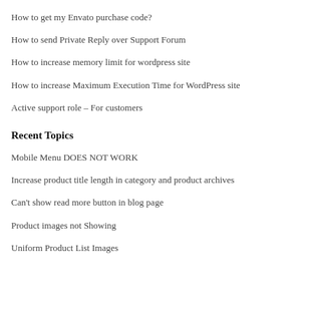How to get my Envato purchase code?
How to send Private Reply over Support Forum
How to increase memory limit for wordpress site
How to increase Maximum Execution Time for WordPress site
Active support role – For customers
Recent Topics
Mobile Menu DOES NOT WORK
Increase product title length in category and product archives
Can't show read more button in blog page
Product images not Showing
Uniform Product List Images